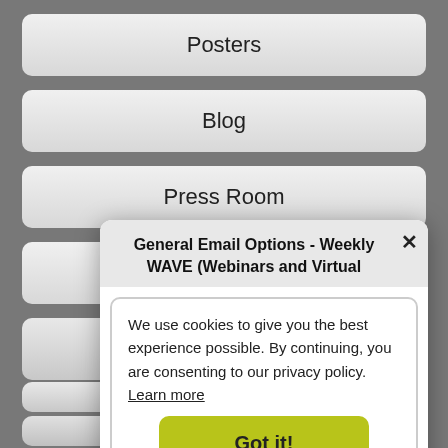Posters
Blog
Press Room
Science Store
General Email Options - Weekly WAVE (Webinars and Virtual
We use cookies to give you the best experience possible. By continuing, you are consenting to our privacy policy. Learn more
Got it!